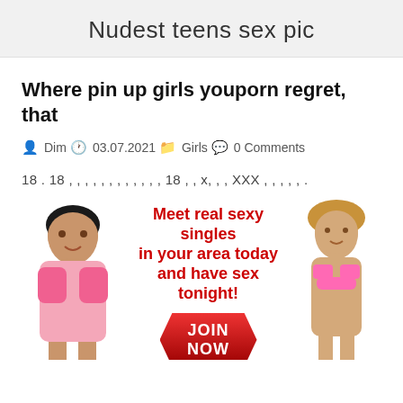Nudest teens sex pic
Where pin up girls youporn regret, that
Dim  03.07.2021  Girls  0 Comments
18 . 18 , , , , , , , , , , , , 18 , , x, , , XXX , , , , , .
[Figure (infographic): Adult dating advertisement banner with two women figures on left and right, red bold text 'Meet real sexy singles in your area today and have sex tonight!', a red arrow-shaped JOIN NOW button, and a red pill-shaped REGISTER button at bottom.]